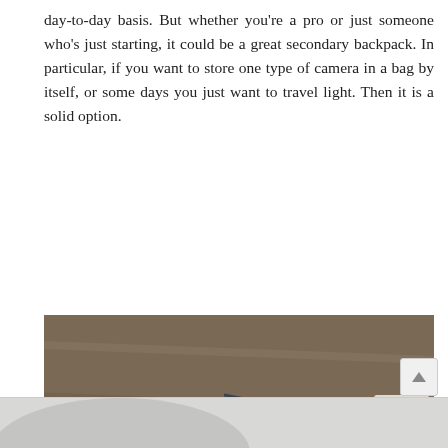day-to-day basis. But whether you're a pro or just someone who's just starting, it could be a great secondary backpack. In particular, if you want to store one type of camera in a bag by itself, or some days you just want to travel light. Then it is a solid option.
[Figure (photo): An open dark grey camera backpack (Manfrotto brand) on a wooden surface, showing a lens filter holder ring inside and red-padded camera compartments with a lens visible on the right side.]